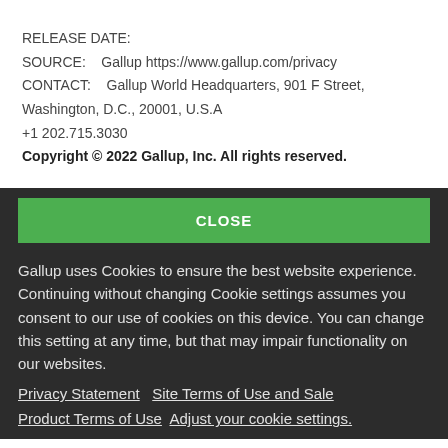RELEASE DATE:
SOURCE:    Gallup https://www.gallup.com/privacy
CONTACT:    Gallup World Headquarters, 901 F Street, Washington, D.C., 20001, U.S.A
+1 202.715.3030
Copyright © 2022 Gallup, Inc. All rights reserved.
CLOSE
Gallup uses Cookies to ensure the best website experience. Continuing without changing Cookie settings assumes you consent to our use of cookies on this device. You can change this setting at any time, but that may impair functionality on our websites.
Privacy Statement   Site Terms of Use and Sale
Product Terms of Use   Adjust your cookie settings.